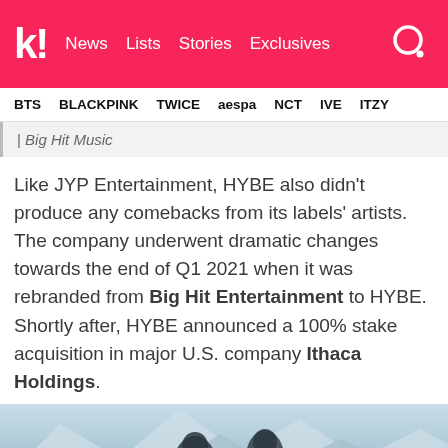k! News  Lists  Stories  Exclusives
BTS  BLACKPINK  TWICE  aespa  NCT  IVE  ITZY
| Big Hit Music
Like JYP Entertainment, HYBE also didn't produce any comebacks from its labels' artists. The company underwent dramatic changes towards the end of Q1 2021 when it was rebranded from Big Hit Entertainment to HYBE. Shortly after, HYBE announced a 100% stake acquisition in major U.S. company Ithaca Holdings.
[Figure (photo): Two male K-pop artists in a winter/snowy concept photo with mountain scenery in the background]